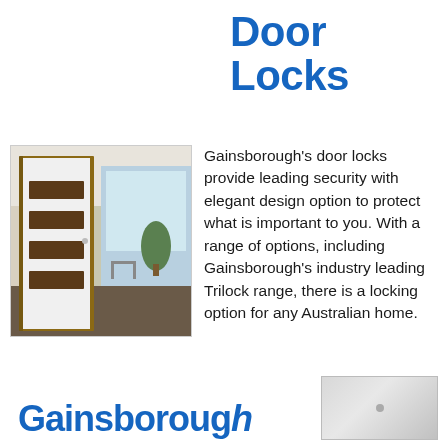Door Locks
[Figure (photo): Interior photo showing a modern white door with dark wood horizontal panel inserts, opening to a bright living space with a plant and glass furniture]
Gainsborough's door locks provide leading security with elegant design option to protect what is important to you. With a range of options, including Gainsborough's industry leading Trilock range, there is a locking option for any Australian home.
Gainsborough
[Figure (photo): Product image of a Gainsborough door lock hardware, gray/silver finish]